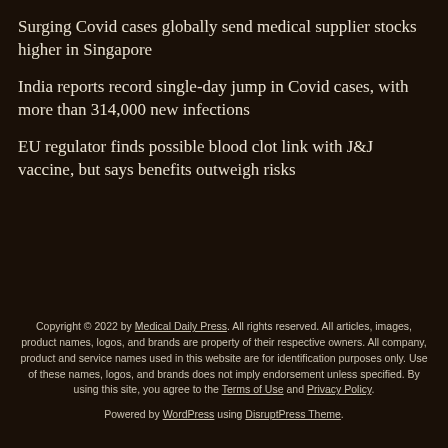Surging Covid cases globally send medical supplier stocks higher in Singapore
India reports record single-day jump in Covid cases, with more than 314,000 new infections
EU regulator finds possible blood clot link with J&J vaccine, but says benefits outweigh risks
Copyright © 2022 by Medical Daily Press. All rights reserved. All articles, images, product names, logos, and brands are property of their respective owners. All company, product and service names used in this website are for identification purposes only. Use of these names, logos, and brands does not imply endorsement unless specified. By using this site, you agree to the Terms of Use and Privacy Policy.
Powered by WordPress using DisruptPress Theme.